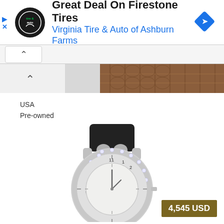[Figure (screenshot): Advertisement banner for Virginia Tire & Auto showing Firestone Tires deal with logo and blue navigation arrow icon]
Great Deal On Firestone Tires
Virginia Tire & Auto of Ashburn Farms
[Figure (photo): Partial photo showing brown alligator leather watch strap at top]
USA
Pre-owned
[Figure (photo): Pre-owned luxury watch with silver diamond-set bezel, white dial, and black leather strap]
4,545 USD